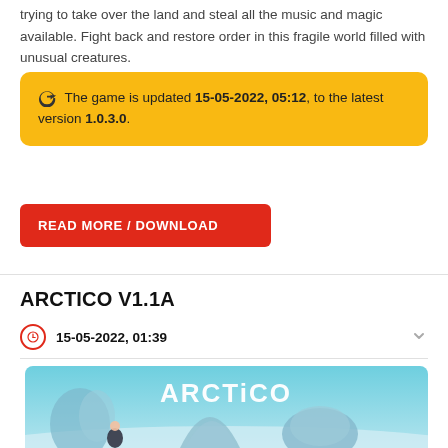trying to take over the land and steal all the music and magic available. Fight back and restore order in this fragile world filled with unusual creatures.
🔄 The game is updated 15-05-2022, 05:12, to the latest version 1.0.3.0.
READ MORE / DOWNLOAD
ARCTICO V1.1A
15-05-2022, 01:39
[Figure (illustration): ARCTiCO game title screen showing snowy arctic landscape with character and dome structures, title text 'ARCTiCO' in large white letters]